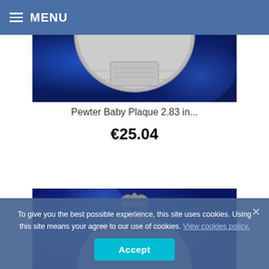MENU
[Figure (photo): Partial view of a pewter baby plaque with silver metallic detail on a blue velvet background, showing the bottom half of a circular plaque.]
Pewter Baby Plaque 2.83 in...
€25.04
[Figure (photo): Top portion of a pewter decorative item with ornate metalwork crown/arch detail against a vivid blue velvet background.]
To give you the best possible experience, this site uses cookies. Using this site means your agree to our use of cookies. View cookies policy.